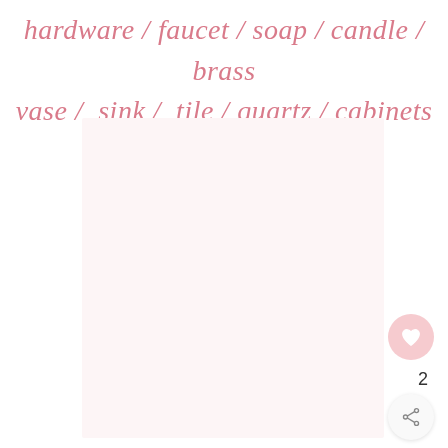hardware / faucet / soap / candle / brass vase / sink / tile / quartz / cabinets
[Figure (photo): Large light pink/blush rectangular image area, largely blank/whitespace, representing a lifestyle or product photo placeholder.]